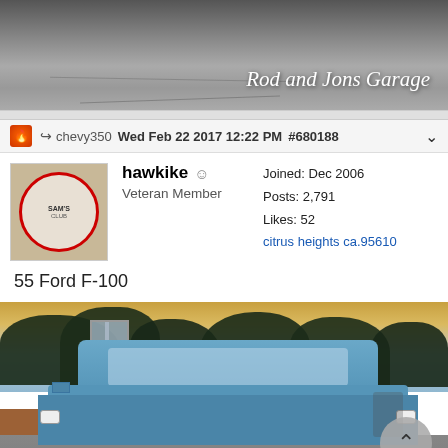[Figure (photo): Banner image showing a road/asphalt with text 'Rod and Jons Garage' in cursive white font in bottom right]
chevy350  Wed Feb 22 2017 12:22 PM  #680188
hawkike
Veteran Member
Joined: Dec 2006
Posts: 2,791
Likes: 52
citrus heights ca.95610
55 Ford F-100
[Figure (photo): Front view of a light blue 1955 Ford F-100 pickup truck in a driveway, with a basketball hoop and trees visible in background]